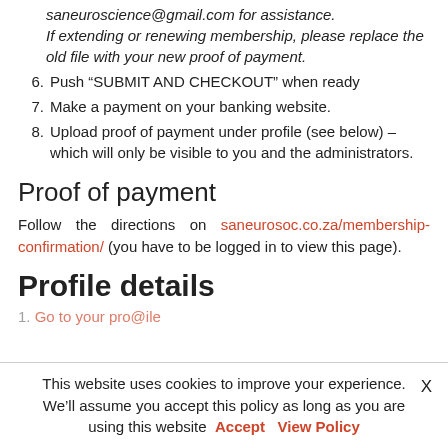saneuroscience@gmail.com for assistance. If extending or renewing membership, please replace the old file with your new proof of payment.
6. Push “SUBMIT AND CHECKOUT” when ready
7. Make a payment on your banking website.
8. Upload proof of payment under profile (see below) – which will only be visible to you and the administrators.
Proof of payment
Follow the directions on saneurosoc.co.za/membership-confirmation/ (you have to be logged in to view this page).
Profile details
This website uses cookies to improve your experience. We’ll assume you accept this policy as long as you are using this website  Accept  View Policy